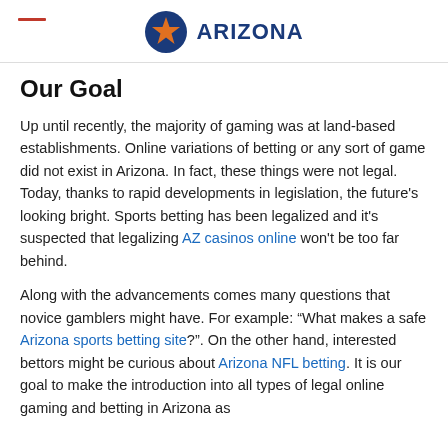ARIZONA
Our Goal
Up until recently, the majority of gaming was at land-based establishments. Online variations of betting or any sort of game did not exist in Arizona. In fact, these things were not legal. Today, thanks to rapid developments in legislation, the future's looking bright. Sports betting has been legalized and it's suspected that legalizing AZ casinos online won't be too far behind.
Along with the advancements comes many questions that novice gamblers might have. For example: “What makes a safe Arizona sports betting site?”. On the other hand, interested bettors might be curious about Arizona NFL betting. It is our goal to make the introduction into all types of legal online gaming and betting in Arizona as